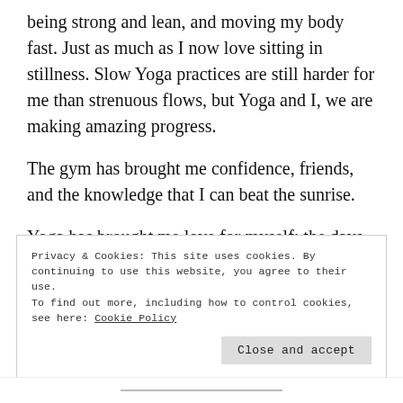being strong and lean, and moving my body fast. Just as much as I now love sitting in stillness. Slow Yoga practices are still harder for me than strenuous flows, but Yoga and I, we are making amazing progress.
The gym has brought me confidence, friends, and the knowledge that I can beat the sunrise.
Yoga has brought me love for myself: the days when I look into the mirror and hate my body for it's shape
Privacy & Cookies: This site uses cookies. By continuing to use this website, you agree to their use.
To find out more, including how to control cookies, see here: Cookie Policy